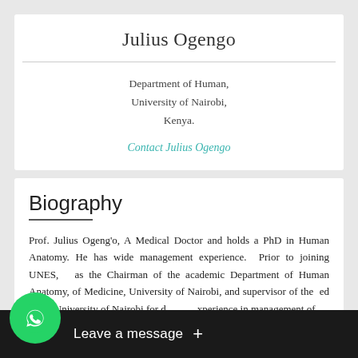Julius Ogengo
Department of Human,
University of Nairobi,
Kenya.
Contact Julius Ogengo
Biography
Prof. Julius Ogeng'o, A Medical Doctor and holds a PhD in Human Anatomy. He has wide management experience. Prior to joining UNES, as the Chairman of the academic Department of Human Anatomy, of Medicine, University of Nairobi, and supervisor of the ed at the University of Nairobi for d xperience in management of acad